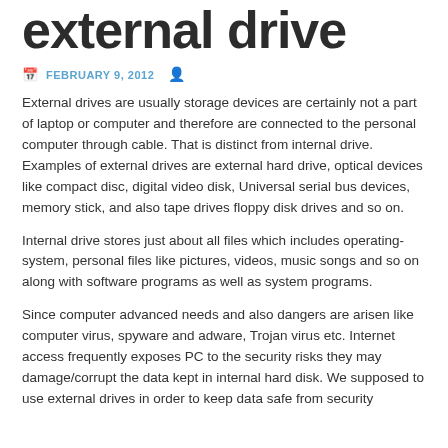external drive
FEBRUARY 9, 2012
External drives are usually storage devices are certainly not a part of laptop or computer and therefore are connected to the personal computer through cable. That is distinct from internal drive. Examples of external drives are external hard drive, optical devices like compact disc, digital video disk, Universal serial bus devices, memory stick, and also tape drives floppy disk drives and so on.
Internal drive stores just about all files which includes operating-system, personal files like pictures, videos, music songs and so on along with software programs as well as system programs.
Since computer advanced needs and also dangers are arisen like computer virus, spyware and adware, Trojan virus etc. Internet access frequently exposes PC to the security risks they may damage/corrupt the data kept in internal hard disk. We supposed to use external drives in order to keep data safe from security